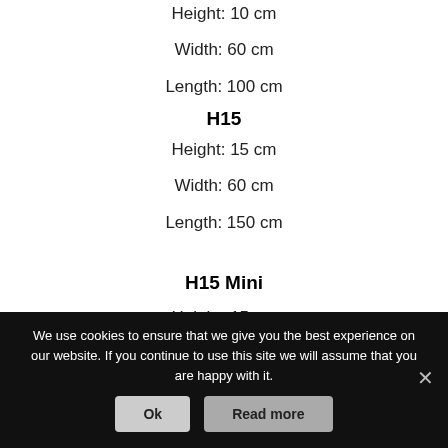Height: 10 cm
Width: 60 cm
Length: 100 cm
H15
Height: 15 cm
Width: 60 cm
Length: 150 cm
H15 Mini
Height: 15 cm
We use cookies to ensure that we give you the best experience on our website. If you continue to use this site we will assume that you are happy with it.